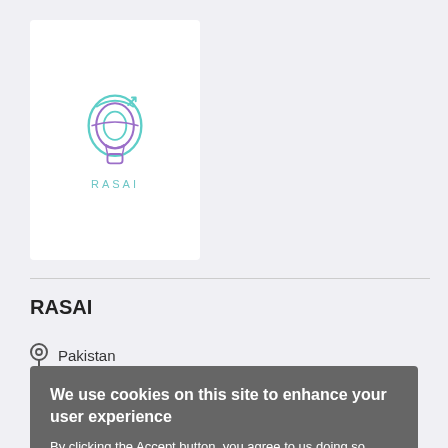[Figure (logo): RASAI logo: a hot air balloon made of teal/green and purple swirling lines with a small arrow, and the text RASAI below in teal letters]
RASAI
Pakistan
Business
We use cookies on this site to enhance your user experience
By clicking the Accept button, you agree to us doing so. More info
ACCEPT   NO, THANKS